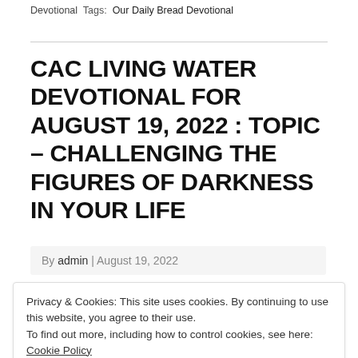Devotional  Tags:  Our Daily Bread Devotional
CAC LIVING WATER DEVOTIONAL FOR AUGUST 19, 2022 : TOPIC – CHALLENGING THE FIGURES OF DARKNESS IN YOUR LIFE
By admin | August 19, 2022
Privacy & Cookies: This site uses cookies. By continuing to use this website, you agree to their use.
To find out more, including how to control cookies, see here: Cookie Policy
Close and accept
DARKNESS IN YOUR